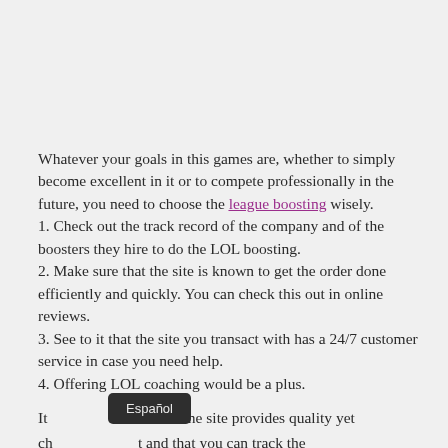Whatever your goals in this games are, whether to simply become excellent in it or to compete professionally in the future, you need to choose the league boosting wisely.
1. Check out the track record of the company and of the boosters they hire to do the LOL boosting.
2. Make sure that the site is known to get the order done efficiently and quickly. You can check this out in online reviews.
3. See to it that the site you transact with has a 24/7 customer service in case you need help.
4. Offering LOL coaching would be a plus.
It is important that the site provides quality yet cheap... and that you can track the...